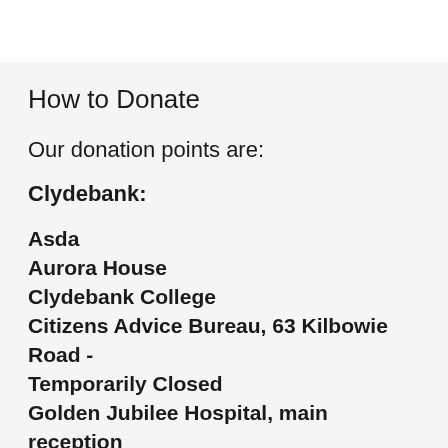How to Donate
Our donation points are:
Clydebank:
Asda
Aurora House
Clydebank College
Citizens Advice Bureau, 63 Kilbowie Road - Temporarily Closed
Golden Jubilee Hospital, main reception
Keystores - Kilbowie Road, Hardgate, Parkhall & Faifley Road (see our donation drops)